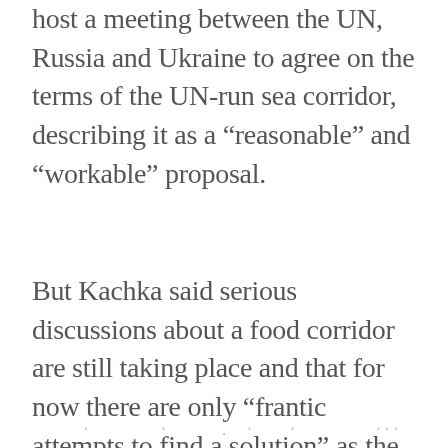host a meeting between the UN, Russia and Ukraine to agree on the terms of the UN-run sea corridor, describing it as a “reasonable” and “workable” proposal.
But Kachka said serious discussions about a food corridor are still taking place and that for now there are only “frantic attempts to find a solution” as the world awakens to the deepening food insecurity crisis. “When this phase is over, I think that discussions about